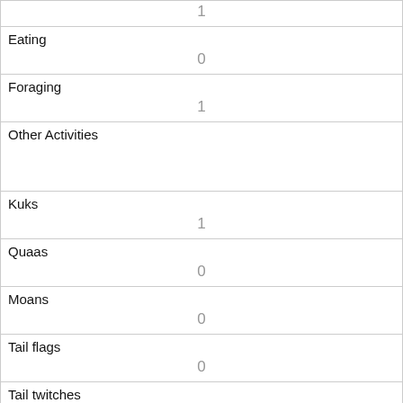| 1 |
| Eating | 0 |
| Foraging | 1 |
| Other Activities |  |
| Kuks | 1 |
| Quaas | 0 |
| Moans | 0 |
| Tail flags | 0 |
| Tail twitches | 0 |
| Approaches | 0 |
| Indifferent | 0 |